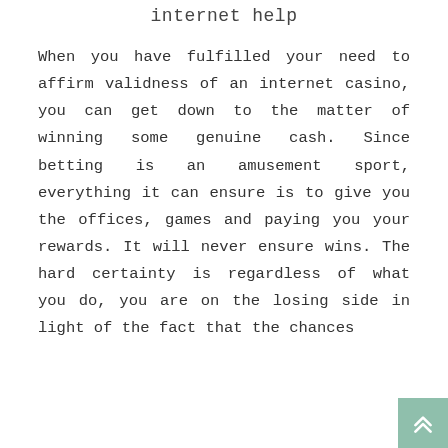internet help
When you have fulfilled your need to affirm validness of an internet casino, you can get down to the matter of winning some genuine cash. Since betting is an amusement sport, everything it can ensure is to give you the offices, games and paying you your rewards. It will never ensure wins. The hard certainty is regardless of what you do, you are on the losing side in light of the fact that the chances